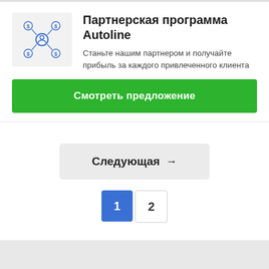[Figure (illustration): Network/referral icon with central person and dollar sign nodes connected by lines, in blue outline style]
Партнерская программа Autoline
Станьте нашим партнером и получайте прибыль за каждого привлеченного клиента
Смотреть предложение
Следующая →
1  2